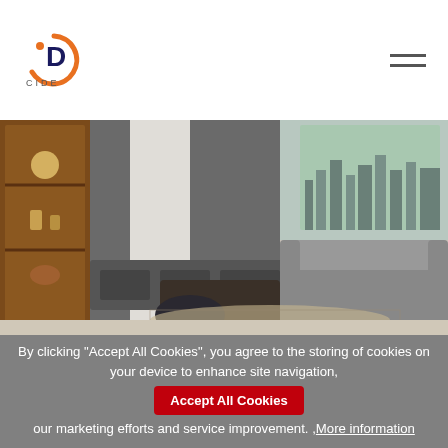CIDE logo and navigation menu
[Figure (photo): Modern living room interior with dark wood shelving unit with decorative items, grey TV console, sofa, black coffee table, and city view through window]
By clicking “Accept All Cookies”, you agree to the storing of cookies on your device to enhance site navigation, [Accept All Cookies button] our marketing efforts and service improvement.  ,More information